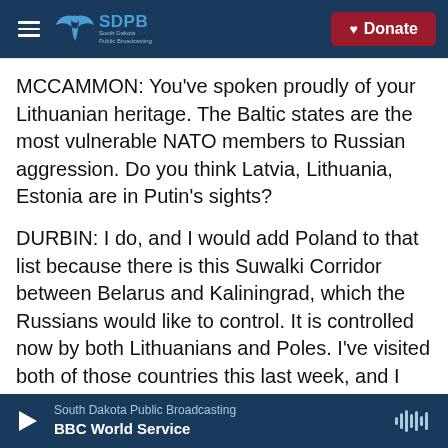SDPB South Dakota Public Broadcasting | Donate
MCCAMMON: You've spoken proudly of your Lithuanian heritage. The Baltic states are the most vulnerable NATO members to Russian aggression. Do you think Latvia, Lithuania, Estonia are in Putin's sights?
DURBIN: I do, and I would add Poland to that list because there is this Suwalki Corridor between Belarus and Kaliningrad, which the Russians would like to control. It is controlled now by both Lithuanians and Poles. I've visited both of those countries this last week, and I can tell you the people there know what Soviet rule was like and
South Dakota Public Broadcasting | BBC World Service